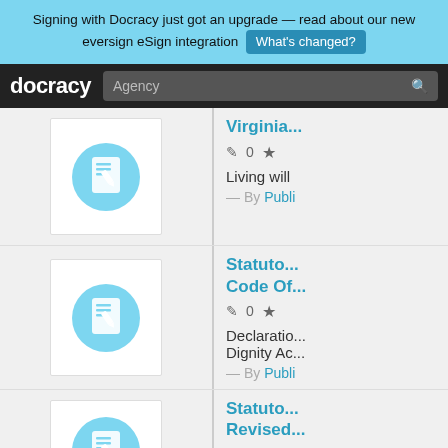Signing with Docracy just got an upgrade — read about our new eversign eSign integration  What's changed?
docracy  [search: Agency]
[Figure (screenshot): Document icon: white document with pen on light blue circle, inside white rounded box]
Virginia...
✏ 0  ★
Living will
— By Publi...
[Figure (screenshot): Document icon: white document with pen on light blue circle, inside white rounded box]
Statuto... Code Of...
✏ 0  ★
Declaratio... Dignity Ac...
— By Publi...
[Figure (screenshot): Document icon: white document with pen on light blue circle, inside white rounded box]
Statuto... Revised...
✏ 0  ★